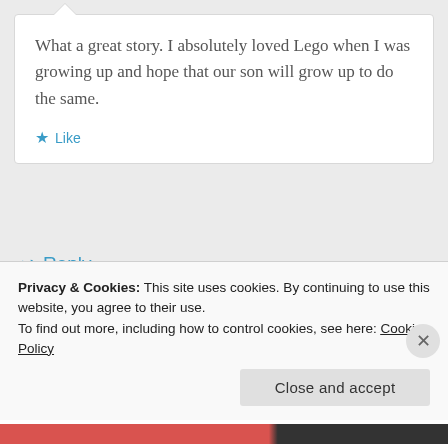What a great story. I absolutely loved Lego when I was growing up and hope that our son will grow up to do the same.
★ Like
↩ Reply
January 29, 2014 at 10:08 pm
Privacy & Cookies: This site uses cookies. By continuing to use this website, you agree to their use.
To find out more, including how to control cookies, see here: Cookie Policy
Close and accept